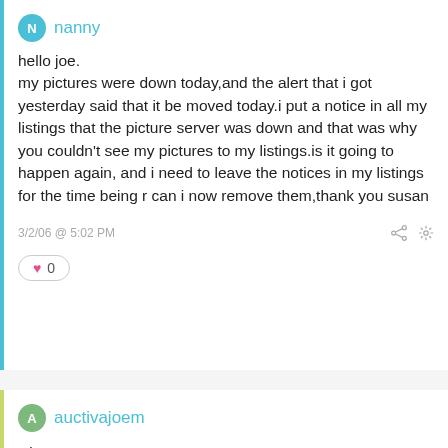nanny
hello joe.
my pictures were down today,and the alert that i got yesterday said that it be moved today.i put a notice in all my listings that the picture server was down and that was why you couldn't see my pictures to my listings.is it going to happen again, and i need to leave the notices in my listings for the time being r can i now remove them,thank you susan
3/2/06 @ 5:02 PM
0
auctivajoem
Hi